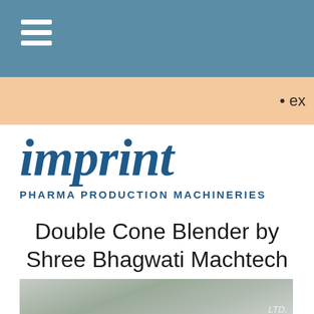• ex
[Figure (logo): Imprint Pharma Production Machineries logo — italic bold serif 'imprint' in dark blue, with 'PHARMA PRODUCTION MACHINERIES' in small caps below]
Double Cone Blender by Shree Bhagwati Machtech
[Figure (photo): Partial photograph of industrial machinery (Double Cone Blender), grayish-blue tone, with 'LTD.' text watermark visible]